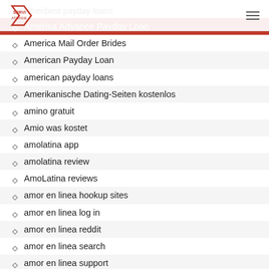SERVI ATIENDE
ameribest payday loans
America Advance Payday Loan
America Mail Order Brides
American Payday Loan
american payday loans
Amerikanische Dating-Seiten kostenlos
amino gratuit
Amio was kostet
amolatina app
amolatina review
AmoLatina reviews
amor en linea hookup sites
amor en linea log in
amor en linea reddit
amor en linea search
amor en linea support
amor-en-linea dating
amor-en-linea login